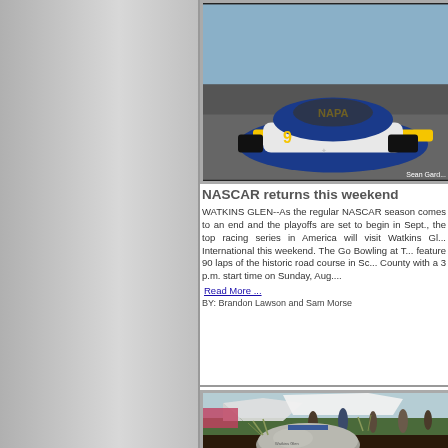[Figure (photo): NASCAR NAPA-branded race car on track, photo credit Sean Gard...]
NASCAR returns this weekend
WATKINS GLEN--As the regular NASCAR season comes to an end and the playoffs are set to begin in Sept., the top racing series in America will visit Watkins Glen International this weekend. The Go Bowling at T... feature 90 laps of the historic road course in Sc... County with a 3 p.m. start time on Sunday, Aug....
Read More ...
BY: Brandon Lawson and Sam Morse
[Figure (photo): Outdoor market or fair scene with tents, people, and a large decorative boulder in foreground]